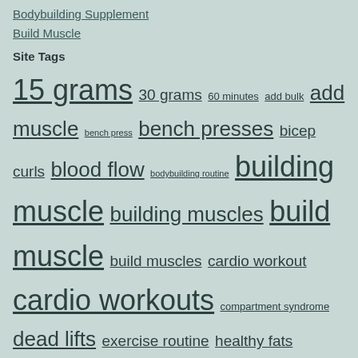Bodybuilding Supplement
Build Muscle
Site Tags
15 grams 30 grams 60 minutes add bulk add muscle bench press bench presses bicep curls blood flow bodybuilding routine building muscle building muscles build muscle build muscles cardio workout cardio workouts compartment syndrome dead lifts exercise routine healthy fats heart arrhythmia immune system improve blood flow increase muscle mass key factor muscle compartment muscle development